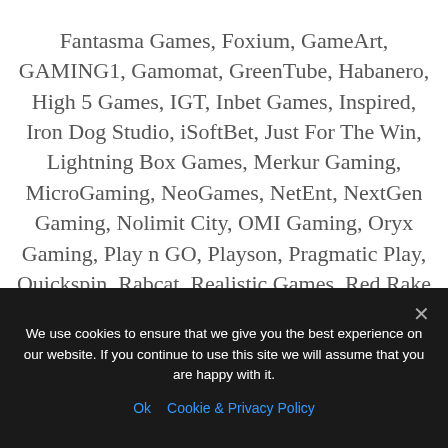Fantasma Games, Foxium, GameArt, GAMING1, Gamomat, GreenTube, Habanero, High 5 Games, IGT, Inbet Games, Inspired, Iron Dog Studio, iSoftBet, Just For The Win, Lightning Box Games, Merkur Gaming, MicroGaming, NeoGames, NetEnt, NextGen Gaming, Nolimit City, OMI Gaming, Oryx Gaming, Play n GO, Playson, Pragmatic Play, Quickspin, Rabcat, Realistic Games, Red Rake Gaming, Red Tiger Gaming, Side City Studios, Skillzz Gaming, Skywind Group, Synot Games, Thunderkick, Tom Horn Gaming,
We use cookies to ensure that we give you the best experience on our website. If you continue to use this site we will assume that you are happy with it.
Ok  Cookie & Privacy Policy